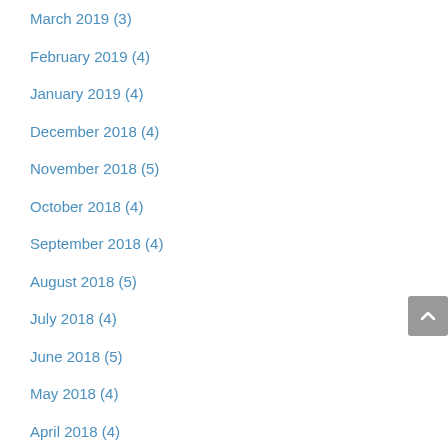March 2019 (3)
February 2019 (4)
January 2019 (4)
December 2018 (4)
November 2018 (5)
October 2018 (4)
September 2018 (4)
August 2018 (5)
July 2018 (4)
June 2018 (5)
May 2018 (4)
April 2018 (4)
March 2018 (5)
February 2018 (4)